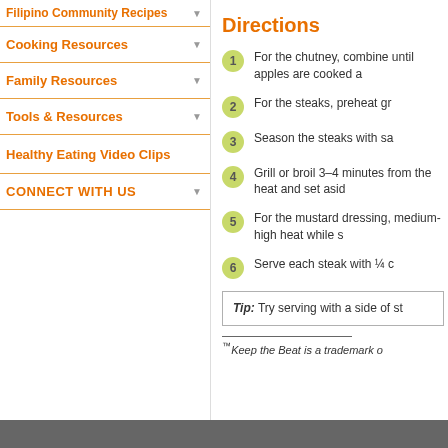Filipino Community Recipes
Cooking Resources
Family Resources
Tools & Resources
Healthy Eating Video Clips
CONNECT WITH US
Directions
1 For the chutney, combine until apples are cooked a
2 For the steaks, preheat gr
3 Season the steaks with sa
4 Grill or broil 3–4 minutes from the heat and set asid
5 For the mustard dressing, medium-high heat while s
6 Serve each steak with ¼ c
Tip: Try serving with a side of st
™Keep the Beat is a trademark o